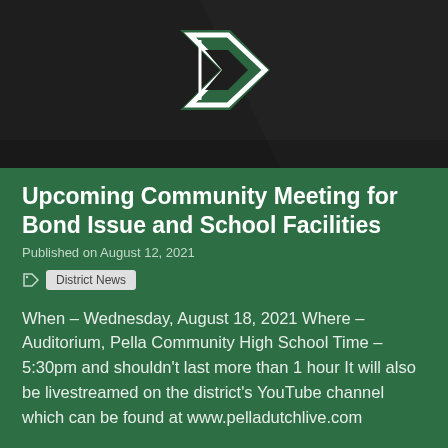[Figure (logo): Dark background with a green and white stylized 'P' logo (Pella school district) partially visible at top]
Upcoming Community Meeting for Bond Issue and School Facilities
Published on August 12, 2021
District News
When – Wednesday, August 18, 2021 Where – Auditorium, Pella Community High School Time – 5:30pm and shouldn't last more than 1 hour It will also be livestreamed on the district's YouTube channel which can be found at www.pelladutchlive.com